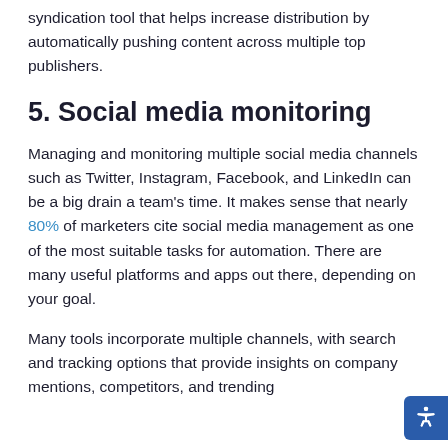syndication tool that helps increase distribution by automatically pushing content across multiple top publishers.
5. Social media monitoring
Managing and monitoring multiple social media channels such as Twitter, Instagram, Facebook, and LinkedIn can be a big drain a team's time. It makes sense that nearly 80% of marketers cite social media management as one of the most suitable tasks for automation. There are many useful platforms and apps out there, depending on your goal.
Many tools incorporate multiple channels, with search and tracking options that provide insights on company mentions, competitors, and trending